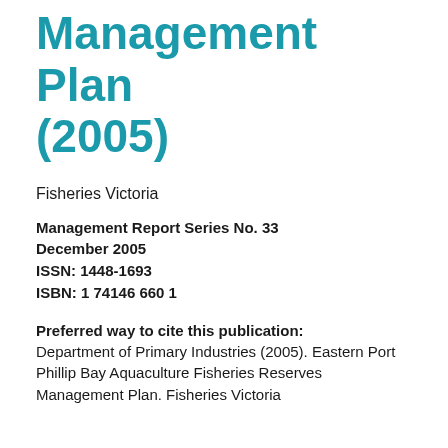Management Plan (2005)
Fisheries Victoria
Management Report Series No. 33
December 2005
ISSN: 1448-1693
ISBN: 1 74146 660 1
Preferred way to cite this publication: Department of Primary Industries (2005). Eastern Port Phillip Bay Aquaculture Fisheries Reserves Management Plan. Fisheries Victoria